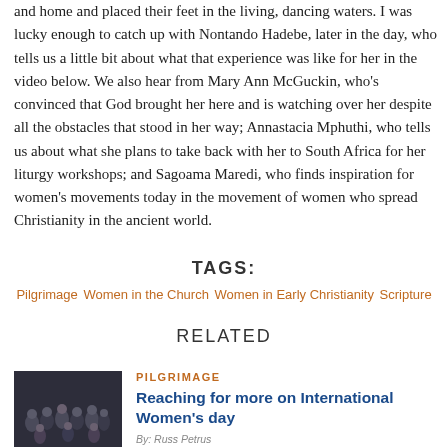and home and placed their feet in the living, dancing waters. I was lucky enough to catch up with Nontando Hadebe, later in the day, who tells us a little bit about what that experience was like for her in the video below. We also hear from Mary Ann McGuckin, who's convinced that God brought her here and is watching over her despite all the obstacles that stood in her way; Annastacia Mphuthi, who tells us about what she plans to take back with her to South Africa for her liturgy workshops; and Sagoama Maredi, who finds inspiration for women's movements today in the movement of women who spread Christianity in the ancient world.
TAGS:
Pilgrimage  Women in the Church  Women in Early Christianity  Scripture
RELATED
[Figure (photo): Group photo of women, dark background, indoor setting]
PILGRIMAGE
Reaching for more on International Women's day
By: Russ Petrus